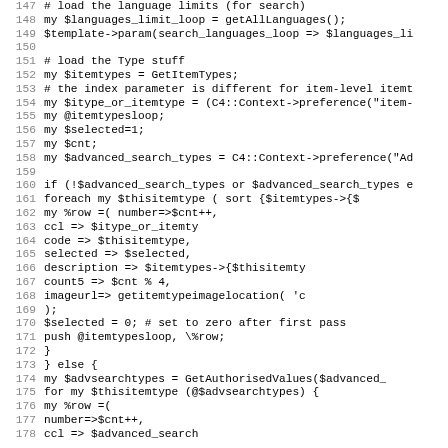Code listing lines 147-178, Perl source code
147   # load the language limits (for search)
148   my $languages_limit_loop = getAllLanguages();
149   $template->param(search_languages_loop => $languages_li
150
151   # load the Type stuff
152   my $itemtypes = GetItemTypes;
153   # the index parameter is different for item-level itemt
154   my $itype_or_itemtype = (C4::Context->preference("item-
155   my @itemtypesloop;
156   my $selected=1;
157   my $cnt;
158   my $advanced_search_types = C4::Context->preference("Ad
159
160   if (!$advanced_search_types or $advanced_search_types e
161           foreach my $thisitemtype ( sort {$itemtypes->{$
162           my %row =(  number=>$cnt++,
163                               ccl => $itype_or_itemty
164                   code => $thisitemtype,
165                   selected => $selected,
166                   description => $itemtypes->{$thisitemty
167                   count5 => $cnt % 4,
168                   imageurl=> getitemtypeimagelocation( 'c
169           );
170           $selected = 0; # set to zero after first pass
171           push @itemtypesloop, \%row;
172           }
173   } else {
174       my $advsearchtypes = GetAuthorisedValues($advanced_
175           for my $thisitemtype (@$advsearchtypes) {
176                   my %row =(
177                           number=>$cnt++,
178                           ccl => $advanced_search